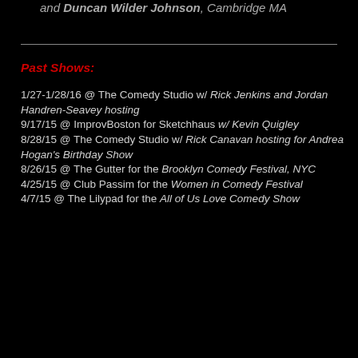and Duncan Wilder Johnson, Cambridge MA
Past Shows:
1/27-1/28/16 @ The Comedy Studio w/ Rick Jenkins and Jordan Handren-Seavey hosting
9/17/15 @ ImprovBoston for Sketchhaus w/ Kevin Quigley
8/28/15 @ The Comedy Studio w/ Rick Canavan hosting for Andrea Hogan's Birthday Show
8/26/15 @ The Gutter for the Brooklyn Comedy Festival, NYC
4/25/15 @ Club Passim for the Women in Comedy Festival
4/7/15 @ The Lilypad for the All of Us Love Comedy Show